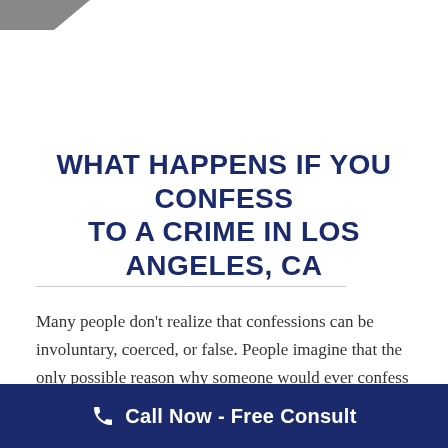WHAT HAPPENS IF YOU CONFESS TO A CRIME IN LOS ANGELES, CA
Many people don't realize that confessions can be involuntary, coerced, or false. People imagine that the only possible reason why someone would ever confess
Call Now - Free Consult